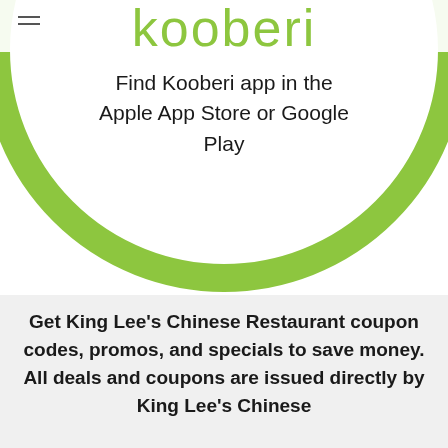Kooberi
[Figure (illustration): Large green circle outline with text inside reading 'Find Kooberi app in the Apple App Store or Google Play']
Find Kooberi app in the Apple App Store or Google Play
Get King Lee's Chinese Restaurant coupon codes, promos, and specials to save money.  All deals and coupons are issued directly by King Lee's Chinese